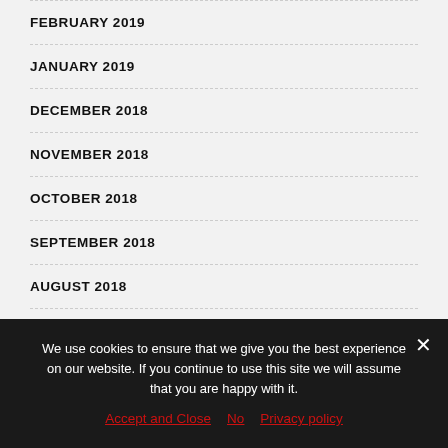FEBRUARY 2019
JANUARY 2019
DECEMBER 2018
NOVEMBER 2018
OCTOBER 2018
SEPTEMBER 2018
AUGUST 2018
JULY 2018
JUNE 2018
We use cookies to ensure that we give you the best experience on our website. If you continue to use this site we will assume that you are happy with it.
Accept and Close   No   Privacy policy